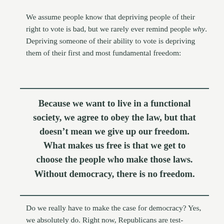We assume people know that depriving people of their right to vote is bad, but we rarely ever remind people why. Depriving someone of their ability to vote is depriving them of their first and most fundamental freedom:
Because we want to live in a functional society, we agree to obey the law, but that doesn't mean we give up our freedom. What makes us free is that we get to choose the people who make those laws. Without democracy, there is no freedom.
Do we really have to make the case for democracy? Yes, we absolutely do. Right now, Republicans are test-ballooning potential arguments against democracy itself. With increasing